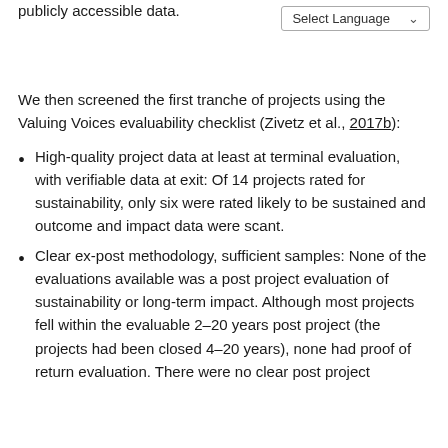publicly accessible data.
We then screened the first tranche of projects using the Valuing Voices evaluability checklist (Zivetz et al., 2017b):
High-quality project data at least at terminal evaluation, with verifiable data at exit: Of 14 projects rated for sustainability, only six were rated likely to be sustained and outcome and impact data were scant.
Clear ex-post methodology, sufficient samples: None of the evaluations available was a post project evaluation of sustainability or long-term impact. Although most projects fell within the evaluable 2–20 years post project (the projects had been closed 4–20 years), none had proof of return evaluation. There were no clear post project